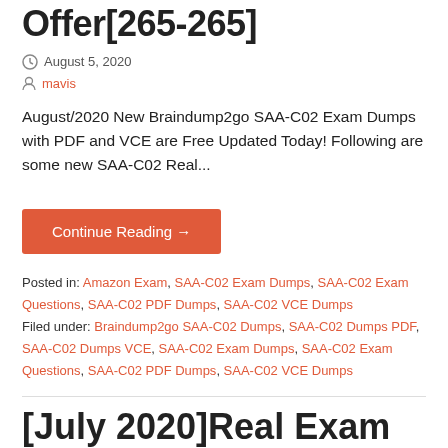Offer[265-265]
August 5, 2020
mavis
August/2020 New Braindump2go SAA-C02 Exam Dumps with PDF and VCE are Free Updated Today! Following are some new SAA-C02 Real...
Continue Reading →
Posted in: Amazon Exam, SAA-C02 Exam Dumps, SAA-C02 Exam Questions, SAA-C02 PDF Dumps, SAA-C02 VCE Dumps
Filed under: Braindump2go SAA-C02 Dumps, SAA-C02 Dumps PDF, SAA-C02 Dumps VCE, SAA-C02 Exam Dumps, SAA-C02 Exam Questions, SAA-C02 PDF Dumps, SAA-C02 VCE Dumps
[July 2020]Real Exam